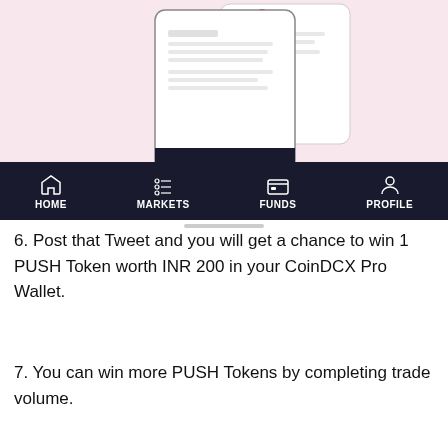[Figure (screenshot): Mobile app screenshot showing a pink/white background with phone mockups displaying content, a text label 'exciting rewards to participate', a blue bordered box with a Twitter button labeled 'TWEET TO WIN 1 PUSH', and a dark navigation bar at the bottom with HOME, MARKETS, FUNDS, PROFILE icons]
6. Post that Tweet and you will get a chance to win 1 PUSH Token worth INR 200 in your CoinDCX Pro Wallet.
7. You can win more PUSH Tokens by completing trade volume.